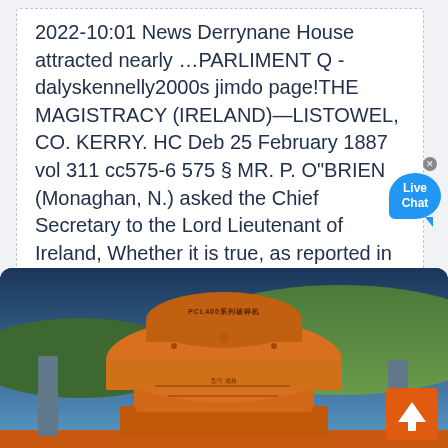2022-10:01 News Derrynane House attracted nearly …PARLIMENT Q - dalyskennelly2000s jimdo page!THE MAGISTRACY (IRELAND)—LISTOWEL, CO. KERRY. HC Deb 25 February 1887 vol 311 cc575-6 575 § MR. P. O"BRIEN (Monaghan, N.) asked the Chief Secretary to the Lord Lieutenant of Ireland, Whether it is true, as reported in the Press, that when eight men we
[Figure (photo): Large orange industrial crushing machine (PCL400 series) with blue band accent, mounted on scaffolding and orange platform, with green hills and blue sky in background]